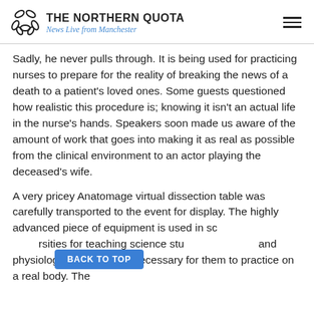THE NORTHERN QUOTA — News Live from Manchester
Sadly, he never pulls through. It is being used for practicing nurses to prepare for the reality of breaking the news of a death to a patient's loved ones. Some guests questioned how realistic this procedure is; knowing it isn't an actual life in the nurse's hands. Speakers soon made us aware of the amount of work that goes into making it as real as possible from the clinical environment to an actor playing the deceased's wife.
A very pricey Anatomage virtual dissection table was carefully transported to the event for display. The highly advanced piece of equipment is used in schools and universities for teaching science students anatomy and physiology when it is not necessary for them to practice on a real body. The digital technology was created from an MRI scan of a